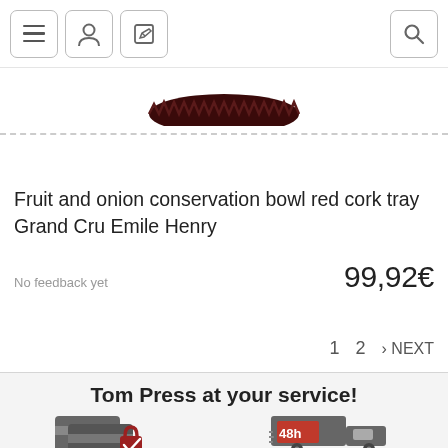Navigation icons: menu, user, edit, search
[Figure (photo): Partial view of a dark red/brown fruit and onion conservation bowl from above, showing the top rim with a dark serrated/ridged edge against a white background, with a dashed border below]
Fruit and onion conservation bowl red cork tray Grand Cru Emile Henry
No feedback yet
99,92€
1  2  > NEXT
Tom Press at your service!
[Figure (illustration): Credit card payment security icon with two overlapping cards and a padlock with a checkmark, in dark grey and red colors]
[Figure (illustration): 48h delivery truck icon in dark grey with red '48h' label on the truck bed]